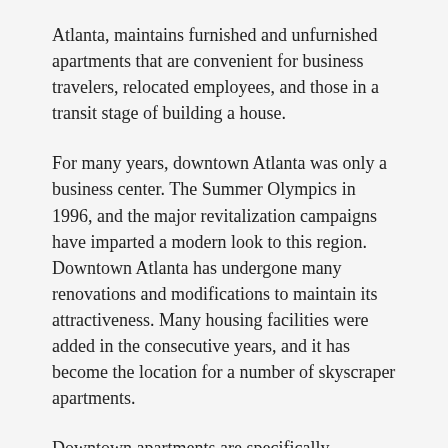Atlanta, maintains furnished and unfurnished apartments that are convenient for business travelers, relocated employees, and those in a transit stage of building a house.
For many years, downtown Atlanta was only a business center. The Summer Olympics in 1996, and the major revitalization campaigns have imparted a modern look to this region. Downtown Atlanta has undergone many renovations and modifications to maintain its attractiveness. Many housing facilities were added in the consecutive years, and it has become the location for a number of skyscraper apartments.
Downtown apartments are specifically designed to support the city's new retail businesses and cultural ventures, and they add style and elegance to the streets. Almost all apartments are located close to deluxe hotels and state-of-the-art conference centers. Luxury